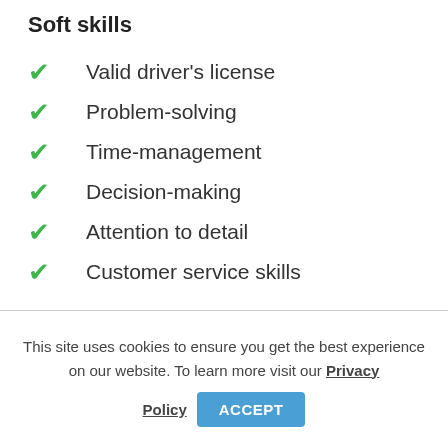Soft skills
Valid driver's license
Problem-solving
Time-management
Decision-making
Attention to detail
Customer service skills
This site uses cookies to ensure you get the best experience on our website. To learn more visit our Privacy Policy
ACCEPT